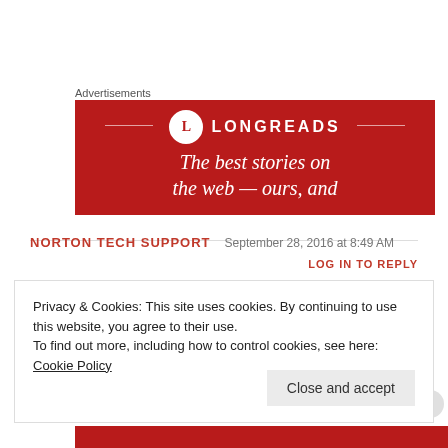Advertisements
[Figure (illustration): Longreads advertisement banner with red background, circular L logo, LONGREADS text, and tagline 'The best stories on the web — ours, and']
NORTON TECH SUPPORT   September 28, 2016 at 8:49 AM
LOG IN TO REPLY
Privacy & Cookies: This site uses cookies. By continuing to use this website, you agree to their use.
To find out more, including how to control cookies, see here: Cookie Policy
Close and accept